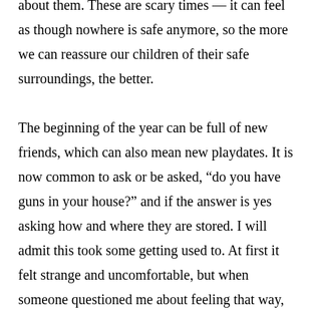about them. These are scary times — it can feel as though nowhere is safe anymore, so the more we can reassure our children of their safe surroundings, the better.
The beginning of the year can be full of new friends, which can also mean new playdates. It is now common to ask or be asked, “do you have guns in your house?” and if the answer is yes asking how and where they are stored. I will admit this took some getting used to. At first it felt strange and uncomfortable, but when someone questioned me about feeling that way, she compared it to my son’s nut allergy: You ask if there are nuts in the house as a matter of safety, so it’s the same about guns. It is too bad it has come to this, but according to gun control advocates, seven children die per day from gun violence. Most responsible gun owners don’t mind the question and actually welcome it. One mom offered to show me how the guns were kept locked up, I appreciated how transparent she was about the whole thing.